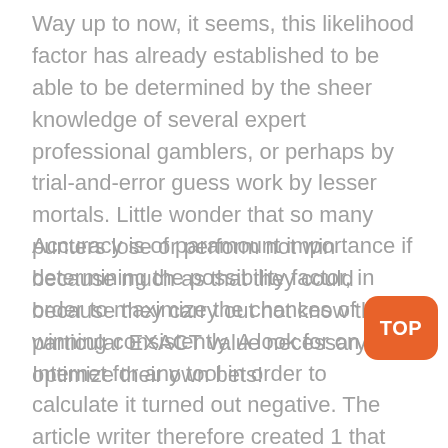Way up to now, it seems, this likelihood factor has already established to be able to be determined by the sheer knowledge of several expert professional gamblers, or perhaps by trial-and-error guess work by lesser mortals. Little wonder that so many punters lose or perform not win because much as that they could because they carry out not know the particular EXACT value necessary to optimize their own bets!
Accuracy is of paramount importance if determining the possibility factor, in order to maximize the chances of winning consistently. A look for on the Internet for any tool in order to calculate it turned out negative. The article writer therefore created 1 that encompasses not really only all facets of exchange betting but also the peculiarities from the tennis scoring method, and called that the Abacus Trade Betting Calculator, for want of the better name. Typically the probability factor is definitely calculated